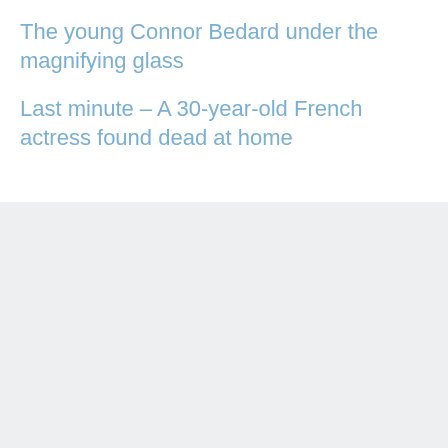The young Connor Bedard under the magnifying glass
Last minute – A 30-year-old French actress found dead at home